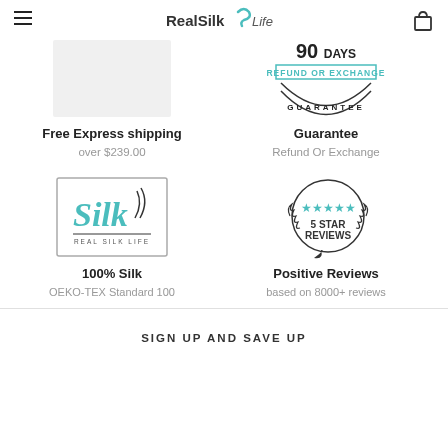RealSilk Life
[Figure (illustration): Light gray placeholder rectangle representing a product image]
[Figure (illustration): 90 Days Refund or Exchange Guarantee badge/stamp graphic in dark/black]
Free Express shipping
over $239.00
Guarantee
Refund Or Exchange
[Figure (logo): Silk Real Silk Life logo in teal/black with cursive Silk text in a bordered box]
[Figure (illustration): 5 Star Reviews badge with laurel wreath and teal stars in speech bubble]
100% Silk
OEKO-TEX Standard 100
Positive Reviews
based on 8000+ reviews
SIGN UP AND SAVE UP